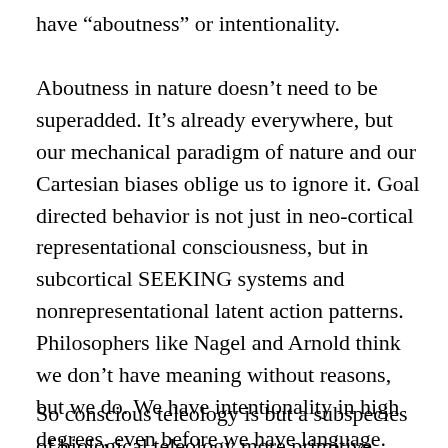have “aboutness” or intentionality.
Aboutness in nature doesn’t need to be superadded. It’s already everywhere, but our mechanical paradigm of nature and our Cartesian biases oblige us to ignore it. Goal directed behavior is not just in neo-cortical representational consciousness, but in subcortical SEEKING systems and nonrepresentational latent action patterns. Philosophers like Nagel and Arnold think we don’t have meaning without reasons, but we do. We have intentionality in high degrees, even before we have language. Not only is the body intentionally oriented to other bodies, but many of our own mental events are also prelinguistic projects.
So conscious teleology is but a subspecies of biological teleology more primitive. Because...